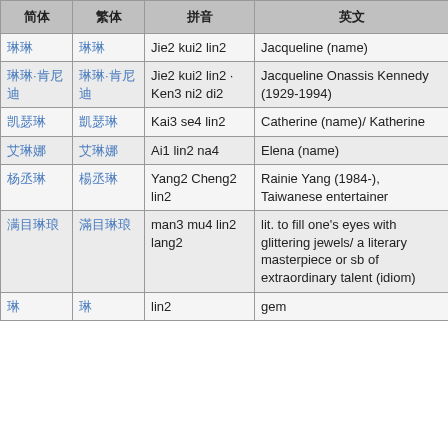| 简体 | 繁体 | 拼音 | 英文 |
| --- | --- | --- | --- |
| 琳琳 | 琳琳 | Jie2 kui2 lin2 | Jacqueline (name) |
| 琳琳·肯尼迪 | 琳琳·肯尼迪 | Jie2 kui2 lin2 · Ken3 ni2 di2 | Jacqueline Onassis Kennedy (1929-1994) |
| 凯瑟琳 | 凱瑟琳 | Kai3 se4 lin2 | Catherine (name)/ Katherine |
| 艾琳娜 | 艾琳娜 | Ai1 lin2 na4 | Elena (name) |
| 杨丞琳 | 楊丞琳 | Yang2 Cheng2 lin2 | Rainie Yang (1984-), Taiwanese entertainer |
| 满目琳琅 | 滿目琳琅 | man3 mu4 lin2 lang2 | lit. to fill one's eyes with glittering jewels/ a literary masterpiece or sb of extraordinary talent (idiom) |
| 琳 | 琳 | lin2 | gem |